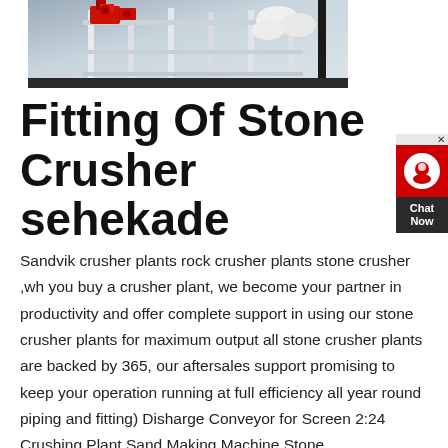[Figure (photo): Industrial stone crusher / rock crusher plant machinery with red mechanical components and white framework structures]
Fitting Of Stone Crusher sehekade
Sandvik crusher plants rock crusher plants stone crusher ,wh you buy a crusher plant, we become your partner in productivity and offer complete support in using our stone crusher plants for maximum output all stone crusher plants are backed by 365, our aftersales support promising to keep your operation running at full efficiency all year round piping and fitting) Disharge Conveyor for Screen 2:24 Crushing Plant,Sand Making Machine,Stone crusher,Crushers by crusher 27,436 views; » More detailed mini portable cone crusher for sale – Grinding Mill Chi...